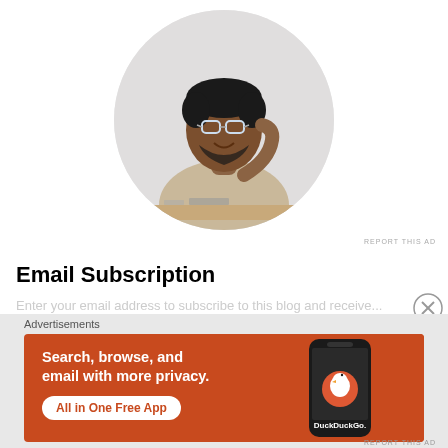[Figure (photo): Circular cropped photo of a young man wearing glasses, seated at a desk, smiling and looking upward thoughtfully, resting chin on hand. Wearing a beige t-shirt.]
REPORT THIS AD
Email Subscription
Enter your email address to subscribe to this blog and receive...
Advertisements
[Figure (infographic): DuckDuckGo advertisement banner with orange background. Left side reads: 'Search, browse, and email with more privacy. All in One Free App' with a white pill-shaped button. Right side shows a phone mockup with DuckDuckGo logo and branding.]